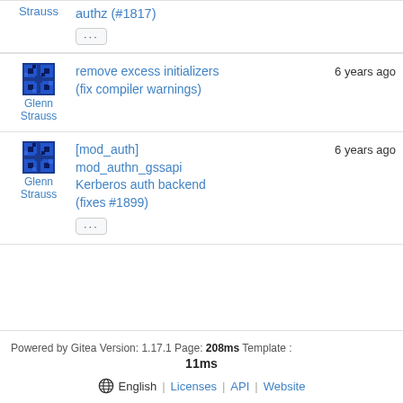| User | Commit Message | Time |
| --- | --- | --- |
| Glenn Strauss | authz (#1817)
... | 6 years ago |
| Glenn Strauss | remove excess initializers (fix compiler warnings) | 6 years ago |
| Glenn Strauss | [mod_auth] mod_authn_gssapi Kerberos auth backend (fixes #1899)
... | 6 years ago |
Powered by Gitea Version: 1.17.1 Page: 208ms Template : 11ms | English | Licenses | API | Website